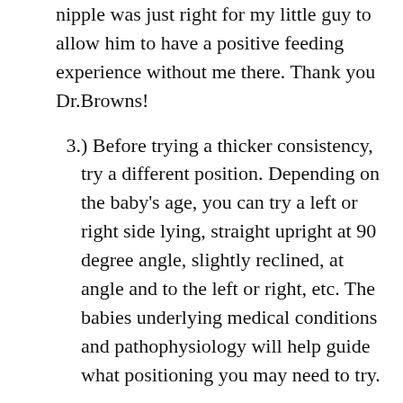nipple was just right for my little guy to allow him to have a positive feeding experience without me there. Thank you Dr.Browns!
) Before trying a thicker consistency, try a different position. Depending on the baby's age, you can try a left or right side lying, straight upright at 90 degree angle, slightly reclined, at angle and to the left or right, etc. The babies underlying medical conditions and pathophysiology will help guide what positioning you may need to try.
) When thickening